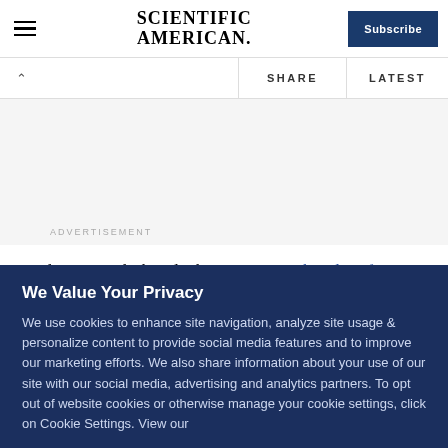SCIENTIFIC AMERICAN
Subscribe
SHARE    LATEST
ADVERTISEMENT
A Blog Around The Clock: #scio12: Multitudes of Sciences, Multitudes of Journalisms, and the Disappearance of the Quote.
We Value Your Privacy
We use cookies to enhance site navigation, analyze site usage & personalize content to provide social media features and to improve our marketing efforts. We also share information about your use of our site with our social media, advertising and analytics partners. To opt out of website cookies or otherwise manage your cookie settings, click on Cookie Settings. View our